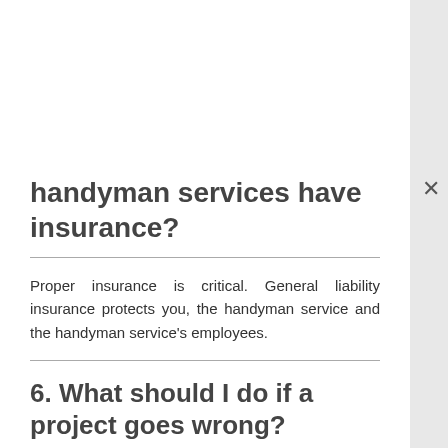handyman services have insurance?
Proper insurance is critical. General liability insurance protects you, the handyman service and the handyman service's employees.
6. What should I do if a project goes wrong?
First of all, talk to the owner of the company. They will always want to protect the reputation of their company. Far too many people seek legal advice, which, in the end, only benefits the attorneys involved. Lawyers run a business based on suing people. So, performing cheap, quick negotiations is not suitable for their business model. At all costs, avoid filing lawsuits and seek a compromise.